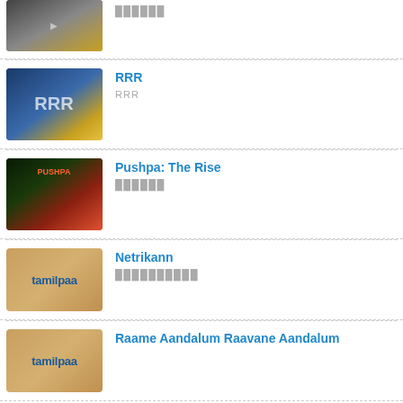[Figure (screenshot): Movie thumbnail for first item (top, partially visible)]
██████
[Figure (screenshot): Movie thumbnail for RRR]
RRR
RRR
[Figure (screenshot): Movie thumbnail for Pushpa: The Rise]
Pushpa: The Rise
██████
[Figure (logo): Tamilpaa logo thumbnail for Netrikann]
Netrikann
██████████
[Figure (logo): Tamilpaa logo thumbnail for Raame Aandalum Raavane Aandalum]
Raame Aandalum Raavane Aandalum